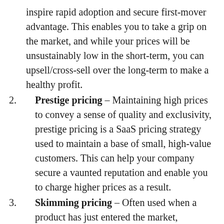inspire rapid adoption and secure first-mover advantage. This enables you to take a grip on the market, and while your prices will be unsustainably low in the short-term, you can upsell/cross-sell over the long-term to make a healthy profit.
Prestige pricing – Maintaining high prices to convey a sense of quality and exclusivity, prestige pricing is a SaaS pricing strategy used to maintain a base of small, high-value customers. This can help your company secure a vaunted reputation and enable you to charge higher prices as a result.
Skimming pricing – Often used when a product has just entered the market, skimming pricing is a great tool for maximizing revenue. In brief, you